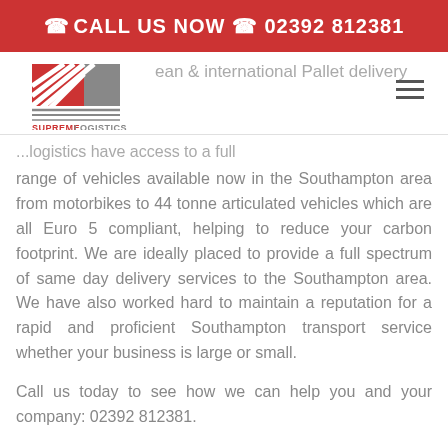CALL US NOW 02392 812381
[Figure (logo): Supreme Logistics logo with red and grey S and L letters with horizontal stripes]
ean & international Pallet delivery
...logistics have access to a full range of vehicles available now in the Southampton area from motorbikes to 44 tonne articulated vehicles which are all Euro 5 compliant, helping to reduce your carbon footprint. We are ideally placed to provide a full spectrum of same day delivery services to the Southampton area. We have also worked hard to maintain a reputation for a rapid and proficient Southampton transport service whether your business is large or small.
Call us today to see how we can help you and your company: 02392 812381.